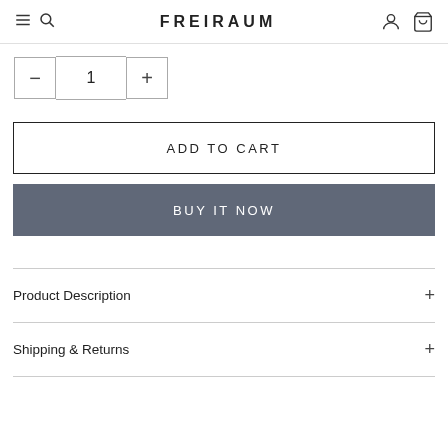FREIRAUM
[Figure (screenshot): Quantity selector with minus button, quantity 1, and plus button]
ADD TO CART
BUY IT NOW
Product Description +
Shipping & Returns +